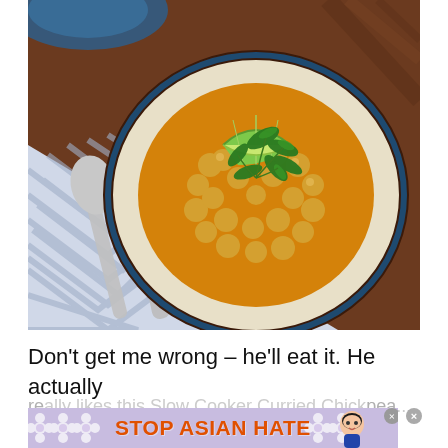[Figure (photo): Overhead photo of a bowl of chickpea curry with rice, garnished with a lime wedge and fresh cilantro/coriander leaves. The bowl is dark blue ceramic, placed on a striped blue and white cloth napkin with silverware (fork and spoon) to the left. Background is a wooden table.]
Don't get me wrong – he'll eat it. He actually
re... ...nispea... & ...u m'b...
[Figure (infographic): Advertisement banner reading 'STOP ASIAN HATE' in large bold orange text on a light purple background with white flower decorations and a cartoon female character on the right side. Has close (×) buttons.]